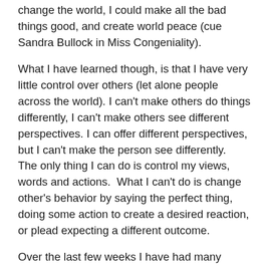change the world, I could make all the bad things good, and create world peace (cue Sandra Bullock in Miss Congeniality).
What I have learned though, is that I have very little control over others (let alone people across the world). I can't make others do things differently, I can't make others see different perspectives. I can offer different perspectives, but I can't make the person see differently.   The only thing I can do is control my views, words and actions.  What I can't do is change other's behavior by saying the perfect thing, doing some action to create a desired reaction, or plead expecting a different outcome.
Over the last few weeks I have had many conversations around the topic of control.  Many people frustrated that "if they would just A,B or C (like I tell them), then it would be all better".  This leads to so much disappointment and anger.